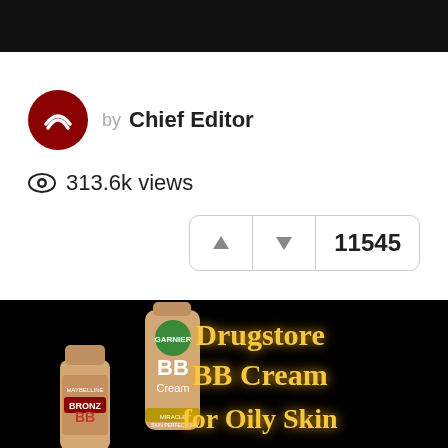by Chief Editor
313.6k views
11545
[Figure (photo): Promotional image on black background showing Garnier BB Cream and Maybelline Bronze BB products with glowing golden text: Drugstore BB Cream for Oily Skin]